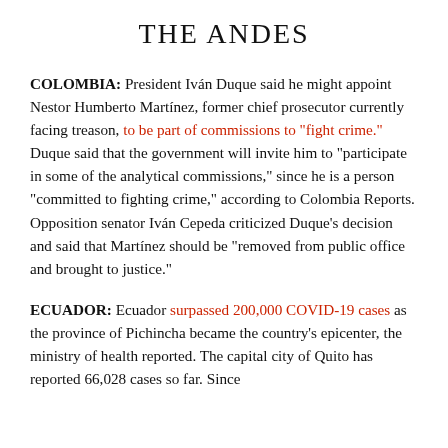THE ANDES
COLOMBIA: President Iván Duque said he might appoint Nestor Humberto Martínez, former chief prosecutor currently facing treason, to be part of commissions to “fight crime.” Duque said that the government will invite him to “participate in some of the analytical commissions,” since he is a person “committed to fighting crime,” according to Colombia Reports. Opposition senator Iván Cepeda criticized Duque’s decision and said that Martínez should be “removed from public office and brought to justice.”
ECUADOR: Ecuador surpassed 200,000 COVID-19 cases as the province of Pichincha became the country’s epicenter, the ministry of health reported. The capital city of Quito has reported 66,028 cases so far. Since